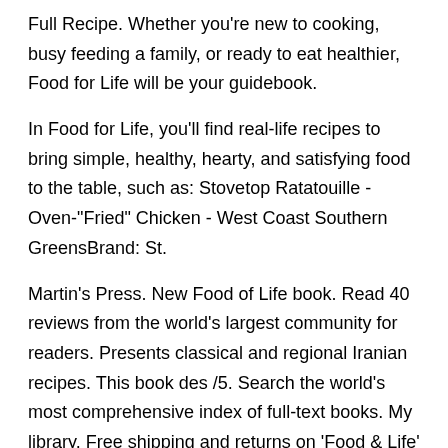Full Recipe. Whether you're new to cooking, busy feeding a family, or ready to eat healthier, Food for Life will be your guidebook.
In Food for Life, you'll find real-life recipes to bring simple, healthy, hearty, and satisfying food to the table, such as: Stovetop Ratatouille - Oven-"Fried" Chicken - West Coast Southern GreensBrand: St.
Martin's Press. New Food of Life book. Read 40 reviews from the world's largest community for readers. Presents classical and regional Iranian recipes. This book des /5. Search the world's most comprehensive index of full-text books. My library. Free shipping and returns on 'Food & Life' Book at More than a cookbook, 'Food & Life' is an ode to food and to the art of delicious and healthful cuisine.
Whereas today's fashionable diets create deficiencies and imbalances and deprive us of part of the joy of living, 'Food & Life' is a celebration of food as an integral part of happiness. Food For Life brings people together with high-quality, organic, non-GMO sprouted breads.
Discover nutrient-rich products for every diet. The book's hundreds of full color photographs are intertwined with descriptions of ancient and